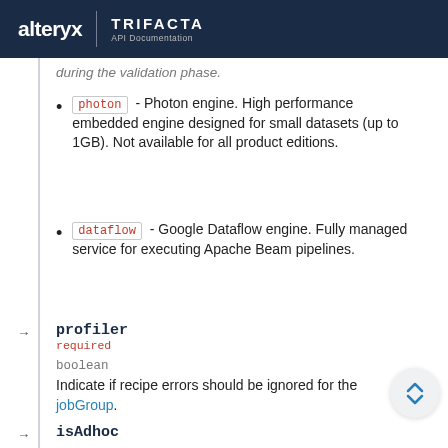alteryx | TRIFACTA API Documentation
during the validation phase.
photon - Photon engine. High performance embedded engine designed for small datasets (up to 1GB). Not available for all product editions.
dataflow - Google Dataflow engine. Fully managed service for executing Apache Beam pipelines.
profiler
required

boolean
Indicate if recipe errors should be ignored for the jobGroup.
isAdhoc

boolean